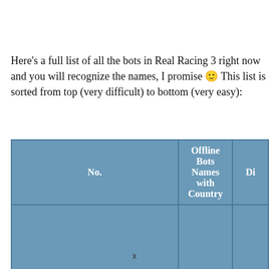Here's a full list of all the bots in Real Racing 3 right now and you will recognize the names, I promise 🙂 This list is sorted from top (very difficult) to bottom (very easy):
| No. | Offline Bots Names with Country | Di… |
| --- | --- | --- |
x